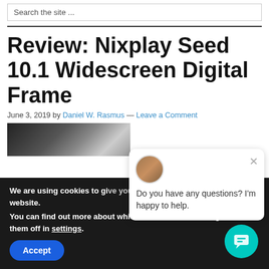Search the site ...
Review: Nixplay Seed 10.1 Widescreen Digital Frame
June 3, 2019 by Daniel W. Rasmus — Leave a Comment
[Figure (photo): Partial article header image]
We are using cookies to give you the best experience on our website.
You can find out more about which cookies we are using or switch them off in settings.
Accept
Do you have any questions? I'm happy to help.